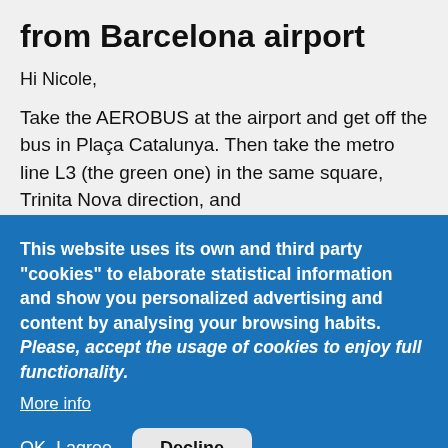from Barcelona airport
Hi Nicole,
Take the AEROBUS at the airport and get off the bus in Plaça Catalunya. Then take the metro line L3 (the green one) in the same square, Trinita Nova direction, and
This website uses its own and third party "cookies" to elaborate statistical information and show you personalized advertising and content by analysing your browsing habits. Please, accept the usage of cookies to enjoy full functionality.
More info
OK, I agree
Decline